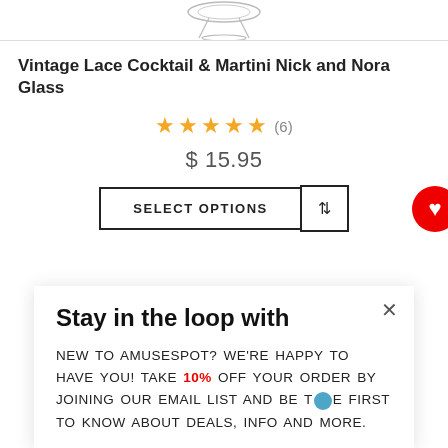[Figure (photo): Partial bottom view of a Vintage Lace Cocktail glass product image, cropped at top]
Vintage Lace Cocktail & Martini Nick and Nora Glass
★★★★★ (6)
$ 15.95
SELECT OPTIONS | compare button | heart/wishlist button
Stay in the loop with
NEW TO AMUSESPOT? WE'RE HAPPY TO HAVE YOU! TAKE 10% OFF YOUR ORDER BY JOINING OUR EMAIL LIST AND BE THE FIRST TO KNOW ABOUT DEALS, INFO AND MORE.